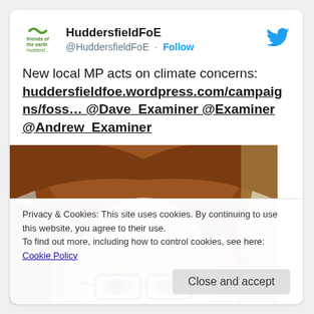[Figure (logo): Friends of the Earth / HuddersfieldFoE logo - green wavy mark with text]
HuddersfieldFoE
@HuddersfieldFoE · Follow
[Figure (logo): Twitter bird logo in blue]
New local MP acts on climate concerns: huddersfieldfoe.wordpress.com/campaigns/foss… @Dave_Examiner @Examiner @Andrew_Examiner
[Figure (photo): Close-up photo of a woman with auburn/reddish-brown hair wearing dark glasses, smiling. Another person visible on the right edge.]
Privacy & Cookies: This site uses cookies. By continuing to use this website, you agree to their use.
To find out more, including how to control cookies, see here: Cookie Policy
Close and accept